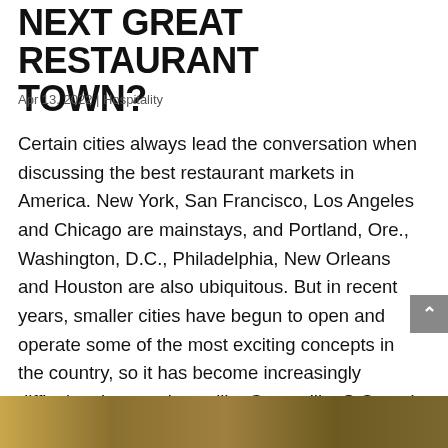NEXT GREAT RESTAURANT TOWN?
Apr 13, 2022 | Hospitality
Certain cities always lead the conversation when discussing the best restaurant markets in America. New York, San Francisco, Los Angeles and Chicago are mainstays, and Portland, Ore., Washington, D.C., Philadelphia, New Orleans and Houston are also ubiquitous. But in recent years, smaller cities have begun to open and operate some of the most exciting concepts in the country, so it has become increasingly difficult to ignore places like Greenville, S.C. and Birmingham, Ala. With three recent James Beard nominations, we can add Bentonville, Ark. to the list.
[Figure (photo): Food photo strip at bottom of page]